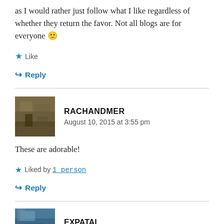as I would rather just follow what I like regardless of whether they return the favor. Not all blogs are for everyone 🙂
★ Like
↪ Reply
RACHANDMER
August 10, 2015 at 3:55 pm
These are adorable!
★ Liked by 1 person
↪ Reply
EXPATAI